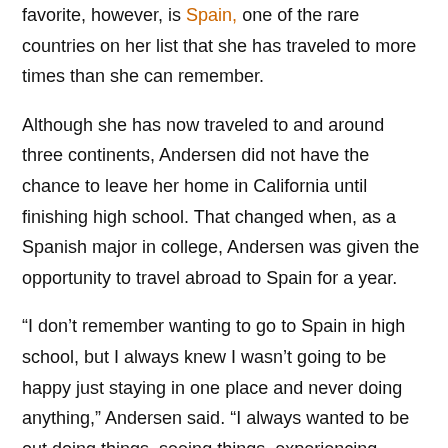favorite, however, is Spain, one of the rare countries on her list that she has traveled to more times than she can remember.
Although she has now traveled to and around three continents, Andersen did not have the chance to leave her home in California until finishing high school. That changed when, as a Spanish major in college, Andersen was given the opportunity to travel abroad to Spain for a year.
“I don’t remember wanting to go to Spain in high school, but I always knew I wasn’t going to be happy just staying in one place and never doing anything,” Andersen said. “I always wanted to be out doing things, seeing things, experiencing things. I’ve always wanted to travel, but I don’t think I realized it right away. Going to college was when it really hit me that I could go out and do these things.”